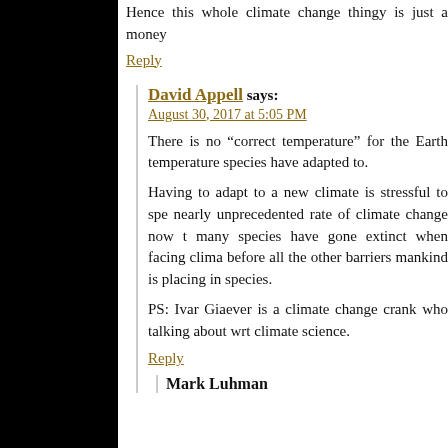Hence this whole climate change thingy is just a money…
Reply
David Appell says:
August 30, 2017 at 5:05 PM
There is no “correct temperature” for the Earth… temperature species have adapted to.
Having to adapt to a new climate is stressful to spe… nearly unprecedented rate of climate change now t… many species have gone extinct when facing clima… before all the other barriers mankind is placing in… species.
PS: Ivar Giaever is a climate change crank who … talking about wrt climate science.
Reply
Mark Luhman